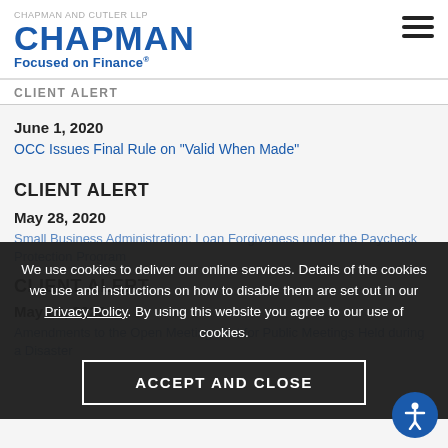Chapman – Focused on Finance
CLIENT ALERT
June 1, 2020
OCC Issues Final Rule on "Valid When Made"
CLIENT ALERT
May 28, 2020
Small Business Administration: Loan Forgiveness under the Paycheck Protection Program
CLIENT ALERT
May 26, 2020
Amendments to the Open Meetings Act for Public Meetings Held during a Disaster
We use cookies to deliver our online services. Details of the cookies we use and instructions on how to disable them are set out in our Privacy Policy. By using this website you agree to our use of cookies.
ACCEPT AND CLOSE